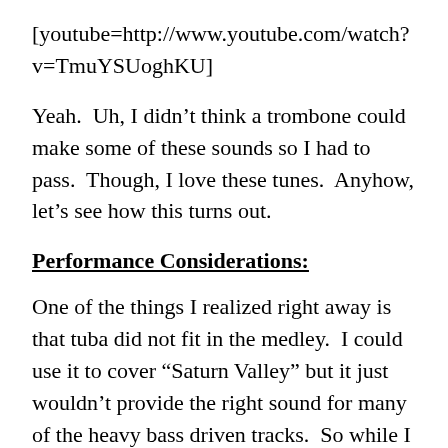[youtube=http://www.youtube.com/watch?v=TmuYSUoghKU]
Yeah.  Uh, I didn’t think a trombone could make some of these sounds so I had to pass.  Though, I love these tunes.  Anyhow, let’s see how this turns out.
Performance Considerations:
One of the things I realized right away is that tuba did not fit in the medley.  I could use it to cover “Saturn Valley” but it just wouldn’t provide the right sound for many of the heavy bass driven tracks.  So while I had originally planned on having tuba, I decided to write the